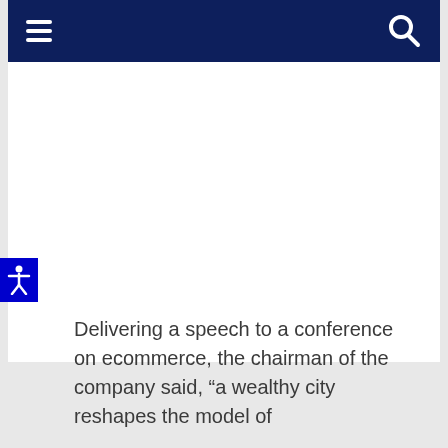[Figure (screenshot): Dark navy navigation bar with hamburger menu icon on the left and a magnifying glass search icon on the right]
[Figure (illustration): Small blue accessibility icon button on the left edge showing a person figure]
Delivering a speech to a conference on ecommerce, the chairman of the company said, “a wealthy city reshapes the model of